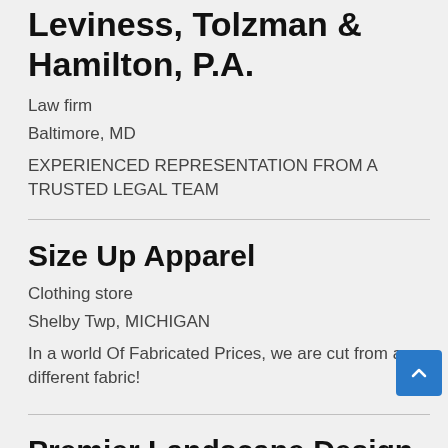Leviness, Tolzman & Hamilton, P.A.
Law firm
Baltimore, MD
EXPERIENCED REPRESENTATION FROM A TRUSTED LEGAL TEAM
Size Up Apparel
Clothing store
Shelby Twp, MICHIGAN
In a world Of Fabricated Prices, we are cut from a different fabric!
Premier Landscape Design of